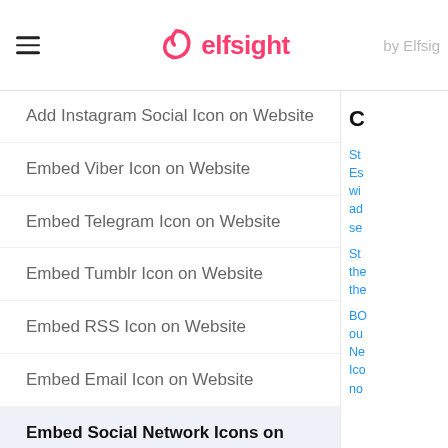elfsight
Add Instagram Social Icon on Website
Embed Viber Icon on Website
Embed Telegram Icon on Website
Embed Tumblr Icon on Website
Embed RSS Icon on Website
Embed Email Icon on Website
Embed Social Network Icons on Website
Social Media Icons for Instagram Network
C
St
Es
wi
ad
se
St
the
the
BO
ou
Ne
Ico
no